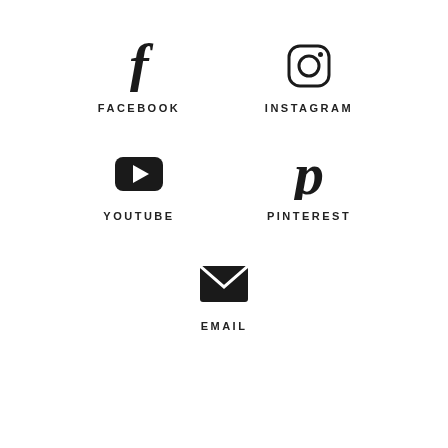[Figure (infographic): Social media icons grid: Facebook (f icon), Instagram (camera icon), YouTube (play button icon), Pinterest (P icon), Email (envelope icon), each with a label below in spaced caps.]